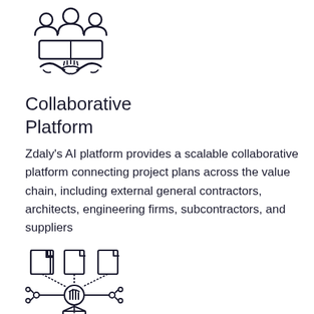[Figure (illustration): Icon of people collaborating with handshake, group of figures holding a book or folder together]
Collaborative Platform
Zdaly's AI platform provides a scalable collaborative platform connecting project plans across the value chain, including external general contractors, architects, engineering firms, subcontractors, and suppliers
[Figure (illustration): Icon of data/document management with three documents at top, connected via lines to a central hub with a hand, leading to a box/package below]
Predictive and Prescriptive Intelligence
Zdaly's AI provides Predictive and Prescriptive Intelligence enterprise solutions for critical business